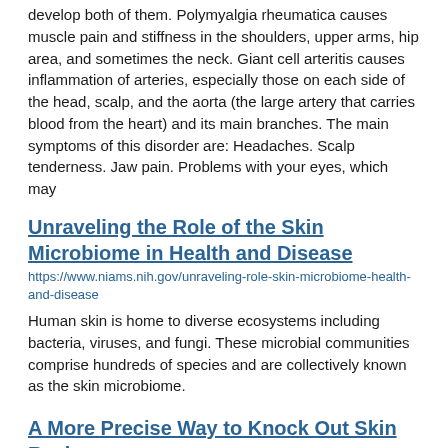develop both of them. Polymyalgia rheumatica causes muscle pain and stiffness in the shoulders, upper arms, hip area, and sometimes the neck. Giant cell arteritis causes inflammation of arteries, especially those on each side of the head, scalp, and the aorta (the large artery that carries blood from the heart) and its main branches. The main symptoms of this disorder are: Headaches. Scalp tenderness. Jaw pain. Problems with your eyes, which may
Unraveling the Role of the Skin Microbiome in Health and Disease
https://www.niams.nih.gov/unraveling-role-skin-microbiome-health-and-disease
Human skin is home to diverse ecosystems including bacteria, viruses, and fungi. These microbial communities comprise hundreds of species and are collectively known as the skin microbiome.
A More Precise Way to Knock Out Skin Rashes
https://www.niams.nih.gov/more-precise-way-knock-out-skin-rashes
Researchers published a proof-of-principle paper in the journal Science Immunology demonstrating just how precision medicine for inflammatory skin rashes might work.